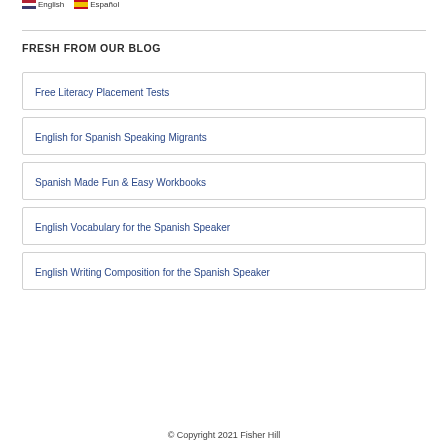English  Español
FRESH FROM OUR BLOG
Free Literacy Placement Tests
English for Spanish Speaking Migrants
Spanish Made Fun & Easy Workbooks
English Vocabulary for the Spanish Speaker
English Writing Composition for the Spanish Speaker
© Copyright 2021 Fisher Hill